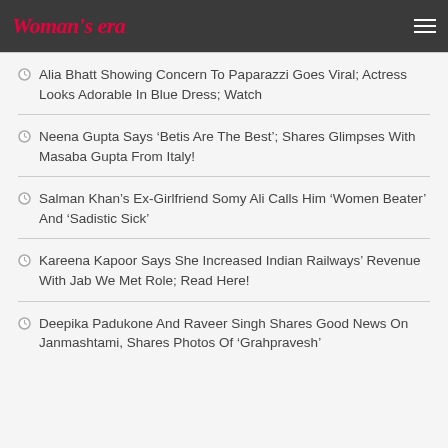Woman's era
Alia Bhatt Showing Concern To Paparazzi Goes Viral; Actress Looks Adorable In Blue Dress; Watch
Neena Gupta Says ‘Betis Are The Best’; Shares Glimpses With Masaba Gupta From Italy!
Salman Khan’s Ex-Girlfriend Somy Ali Calls Him ‘Women Beater’ And ‘Sadistic Sick’
Kareena Kapoor Says She Increased Indian Railways’ Revenue With Jab We Met Role; Read Here!
Deepika Padukone And Raveer Singh Shares Good News On Janmashtami, Shares Photos Of ‘Grahpravesh’